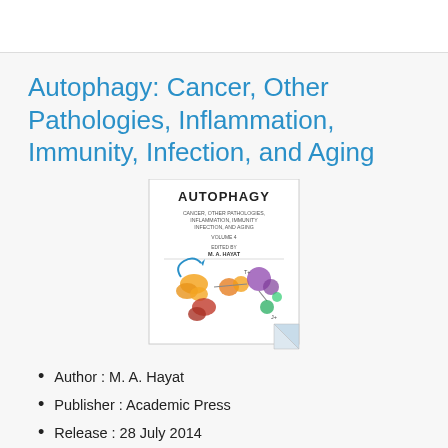Autophagy: Cancer, Other Pathologies, Inflammation, Immunity, Infection, and Aging
[Figure (illustration): Book cover of 'Autophagy: Cancer, Other Pathologies, Inflammation, Immunity, Infection, and Aging' edited by M. A. Hayat, showing a biological diagram with cellular components.]
Author : M. A. Hayat
Publisher : Academic Press
Release : 28 July 2014